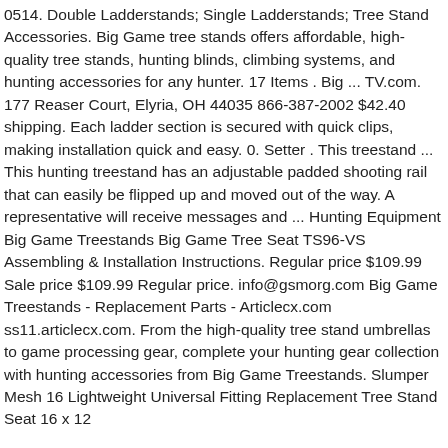0514. Double Ladderstands; Single Ladderstands; Tree Stand Accessories. Big Game tree stands offers affordable, high-quality tree stands, hunting blinds, climbing systems, and hunting accessories for any hunter. 17 Items . Big ... TV.com. 177 Reaser Court, Elyria, OH 44035 866-387-2002 $42.40 shipping. Each ladder section is secured with quick clips, making installation quick and easy. 0. Setter . This treestand ... This hunting treestand has an adjustable padded shooting rail that can easily be flipped up and moved out of the way. A representative will receive messages and ... Hunting Equipment Big Game Treestands Big Game Tree Seat TS96-VS Assembling & Installation Instructions. Regular price $109.99 Sale price $109.99 Regular price. info@gsmorg.com Big Game Treestands - Replacement Parts - Articlecx.com ss11.articlecx.com. From the high-quality tree stand umbrellas to game processing gear, complete your hunting gear collection with hunting accessories from Big Game Treestands. Slumper Mesh 16 Lightweight Universal Fitting Replacement Tree Stand Seat 16 x 12